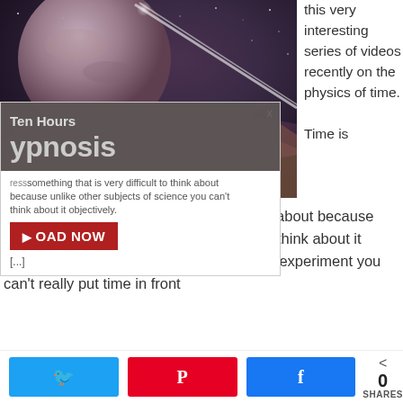[Figure (illustration): Space scene showing a planet and a comet/meteor streaking through a starry sky over a mountainous landscape with pinkish-purple hues]
this very interesting series of videos recently on the physics of time. Time is
[Figure (screenshot): Popup overlay showing 'Ten Hours' and 'ypnosis' titles with a dark background, a red LOAD NOW button, and partial text excerpt]
something that is very difficult to think about because unlike other subjects of science you can't think about it objectively.  Even if you're doing a mental experiment you can't really put time in front
[...]
0 SHARES